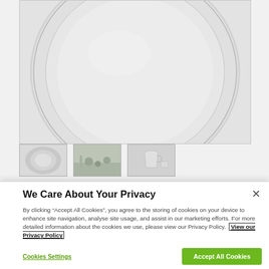[Figure (photo): Large white ceramic dinner plate photographed from above on a light grey background, showing the rim and center of the plate.]
[Figure (photo): Three product thumbnail images: first shows the plate close-up, second shows a table setting with decorative items, third shows a white pitcher and tableware.]
We Care About Your Privacy
By clicking “Accept All Cookies”, you agree to the storing of cookies on your device to enhance site navigation, analyse site usage, and assist in our marketing efforts. For more detailed information about the cookies we use, please view our Privacy Policy. View our Privacy Policy
Cookies Settings
Accept All Cookies